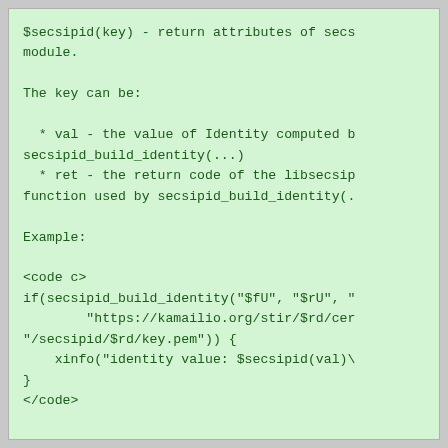$secsipid(key) - return attributes of secs module.

The key can be:

  * val - the value of Identity computed b secsipid_build_identity(...)
  * ret - the return code of the libsecsip function used by secsipid_build_identity(.

Example:

<code c>
if(secsipid_build_identity("$fU", "$rU", "
        "https://kamailio.org/stir/$rd/cer
"/secsipid/$rd/key.pem")) {
    xinfo("identity value: $secsipid(val)\
}
</code>